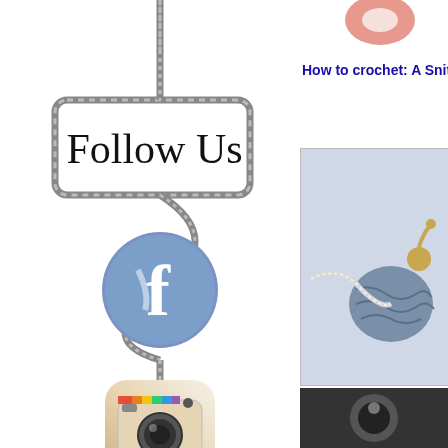[Figure (illustration): Decorative rope/cord illustration forming a winding path with a box at top containing 'Follow Us' text in cursive, with Facebook, Instagram, and Twitter social media icons attached along the rope]
Follow Us
How to crochet: A Snit
[Figure (photo): Close-up photo of a crocheted item, appears to be a small blue crocheted ball or snail on a light blue/white background with yarn]
[Figure (photo): Partially visible thumbnail image at bottom right, dark background]